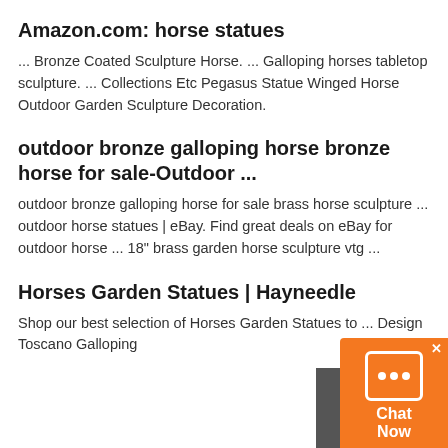Amazon.com: horse statues
... Bronze Coated Sculpture Horse. ... Galloping horses tabletop sculpture. ... Collections Etc Pegasus Statue Winged Horse Outdoor Garden Sculpture Decoration.
outdoor bronze galloping horse bronze horse for sale-Outdoor ...
outdoor bronze galloping horse for sale brass horse sculpture ... outdoor horse statues | eBay. Find great deals on eBay for outdoor horse ... 18" brass garden horse sculpture vtg ...
Horses Garden Statues | Hayneedle
Shop our best selection of Horses Garden Statues to ... Design Toscano Galloping